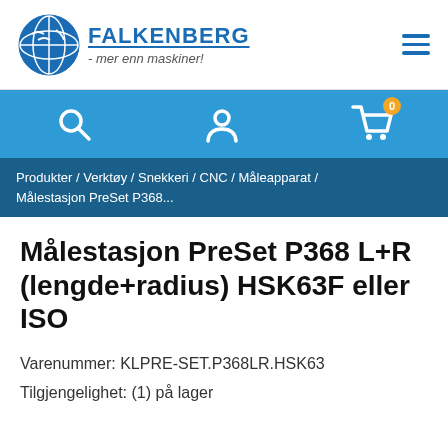[Figure (logo): Falkenberg logo with globe icon and text 'FALKENBERG - mer enn maskiner!']
[Figure (infographic): Blue navigation bar with search icon, user/account icon, and shopping cart icon with badge showing 0]
Produkter / Verktøy / Snekkeri / CNC / Måleapparat / Målestasjon PreSet P368...
Målestasjon PreSet P368 L+R (lengde+radius) HSK63F eller ISO
Varenummer: KLPRE-SET.P368LR.HSK63
Tilgjengelighet: (1) på lager